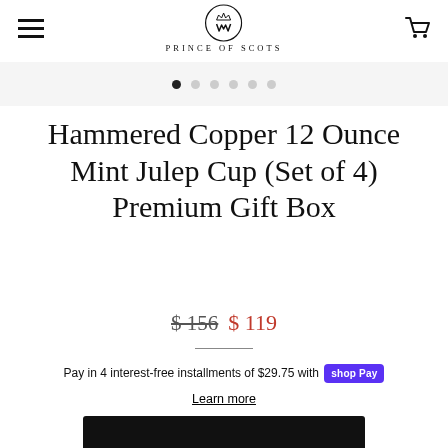Prince of Scots
[Figure (other): Image carousel pagination dots, 6 dots with first dot active]
Hammered Copper 12 Ounce Mint Julep Cup (Set of 4) Premium Gift Box
$156  $ 119
Pay in 4 interest-free installments of $29.75 with shop Pay
Learn more